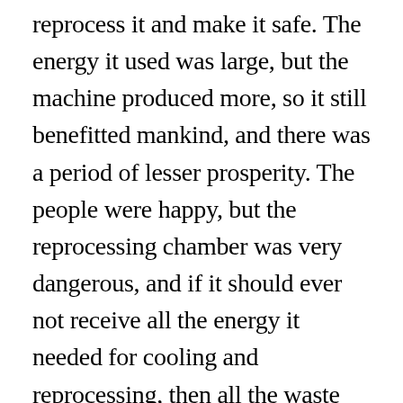reprocess it and make it safe. The energy it used was large, but the machine produced more, so it still benefitted mankind, and there was a period of lesser prosperity. The people were happy, but the reprocessing chamber was very dangerous, and if it should ever not receive all the energy it needed for cooling and reprocessing, then all the waste would explode in an conflagration unlike any that the world had seen. It would kill everyone and everything. Later they discovered that some parts of the system were overheating, and so more energy was needed to keep them cool. Bit by bit, the amount of energy spent keeping the whole system running became greater and greater, for small things had been overlooked in many places. 400 years ago, it passed the point of